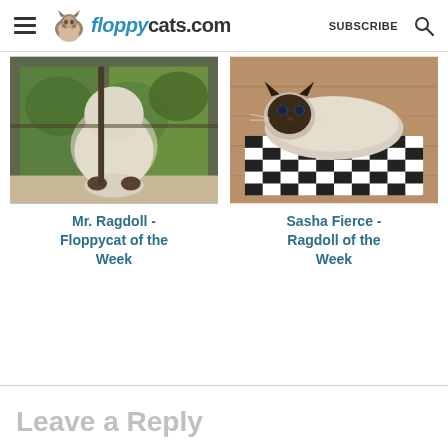floppycats.com | SUBSCRIBE
[Figure (photo): White/cream Ragdoll cat standing at a window, view from behind, dark paws visible, green foliage outside]
Mr. Ragdoll - Floppycat of the Week
[Figure (photo): Siamese/Ragdoll cat with dark face mask and cream body lying inside a black and white checkered box on a wooden floor]
Sasha Fierce - Ragdoll of the Week
Leave a Reply